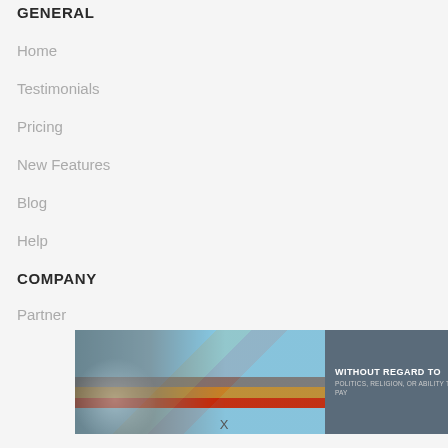GENERAL
Home
Testimonials
Pricing
New Features
Blog
Help
COMPANY
Partner
[Figure (photo): Advertisement banner showing cargo being loaded onto an airplane with text 'WITHOUT REGARD TO POLITICS, RELIGION, OR ABILITY TO PAY']
X